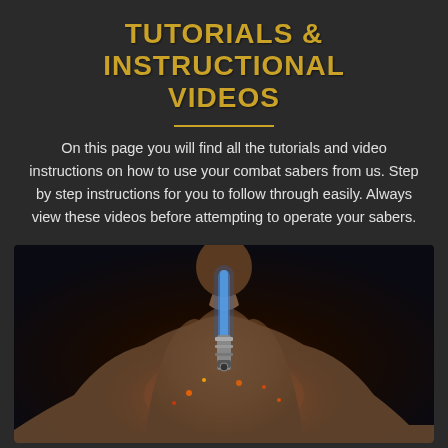TUTORIALS & INSTRUCTIONAL VIDEOS
On this page you will find all the tutorials and video instructions on how to use your combat sabers from us. Step by step instructions for you to follow through easily. Always view these videos before attempting to operate your sabers.
[Figure (photo): A muscular person seen from behind holding a lightsaber/combat saber with a blue glowing blade, surrounded by fire and flame effects at the base, dark dramatic background]